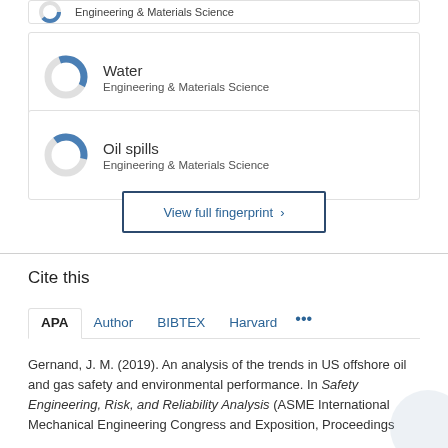[Figure (donut-chart): Partial card cut off at top showing Engineering & Materials Science text with donut chart icon]
[Figure (donut-chart): Donut chart for Water - Engineering & Materials Science fingerprint card]
Water
Engineering & Materials Science
[Figure (donut-chart): Donut chart for Oil spills - Engineering & Materials Science fingerprint card]
Oil spills
Engineering & Materials Science
View full fingerprint ›
Cite this
APA  Author  BIBTEX  Harvard  ...
Gernand, J. M. (2019). An analysis of the trends in US offshore oil and gas safety and environmental performance. In Safety Engineering, Risk, and Reliability Analysis (ASME International Mechanical Engineering Congress and Exposition, Proceedings